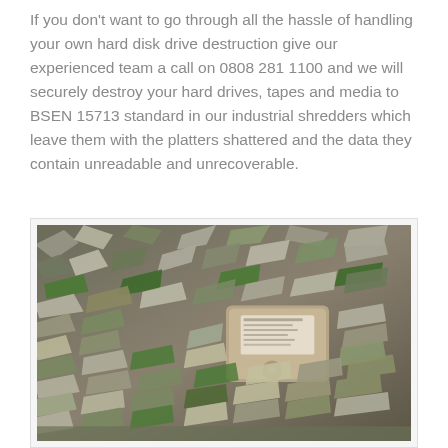If you don't want to go through all the hassle of handling your own hard disk drive destruction give our experienced team a call on 0808 281 1100 and we will securely destroy your hard drives, tapes and media to BSEN 15713 standard in our industrial shredders which leave them with the platters shattered and the data they contain unreadable and unrecoverable.
[Figure (photo): Photograph of shredded hard disk drives and electronic components — a pile of shredded metallic and circuit board fragments with one partially intact hard disk drive visible among the debris.]